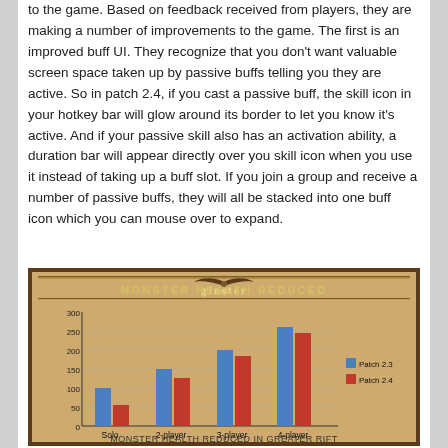to the game. Based on feedback received from players, they are making a number of improvements to the game. The first is an improved buff UI. They recognize that you don't want valuable screen space taken up by passive buffs telling you they are active. So in patch 2.4, if you cast a passive buff, the skill icon in your hotkey bar will glow around its border to let you know it's active. And if your passive skill also has an activation ability, a duration bar will appear directly over you skill icon when you use it instead of taking up a buff slot. If you join a group and receive a number of passive buffs, they will all be stacked into one buff icon which you can mouse over to expand.
[Figure (grouped-bar-chart): MONSTER HEALTH REDUCED]
MONSTER HEALTH REDUCED IN GREATER RIFT